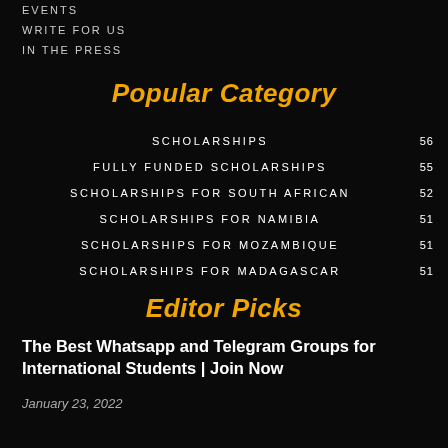EVENTS
WRITE FOR US
IN THE PRESS
Popular Category
| Category | Count |
| --- | --- |
| SCHOLARSHIPS | 56 |
| FULLY FUNDED SCHOLARSHIPS | 55 |
| SCHOLARSHIPS FOR SOUTH AFRICAN | 52 |
| SCHOLARSHIPS FOR NAMIBIA | 51 |
| SCHOLARSHIPS FOR MOZAMBIQUE | 51 |
| SCHOLARSHIPS FOR MADAGASCAR | 51 |
Editor Picks
The Best Whatsapp and Telegram Groups for International Students | Join Now
January 23, 2022